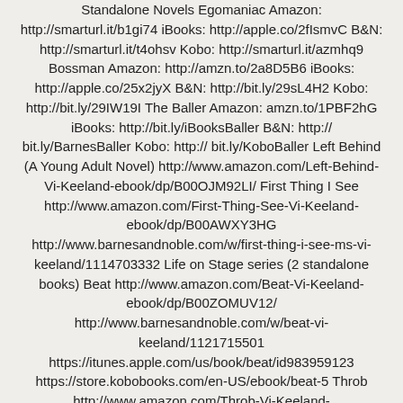Standalone Novels Egomaniac Amazon: http://smarturl.it/b1gi74 iBooks: http://apple.co/2fIsmvC B&N: http://smarturl.it/t4ohsv Kobo: http://smarturl.it/azmhq9 Bossman Amazon: http://amzn.to/2a8D5B6 iBooks: http://apple.co/25x2jyX B&N: http://bit.ly/29sL4H2 Kobo: http://bit.ly/29IW19I The Baller Amazon: amzn.to/1PBF2hG iBooks: http://bit.ly/iBooksBaller B&N: http://bit.ly/BarnesBaller Kobo: http:// bit.ly/KoboBaller Left Behind (A Young Adult Novel) http://www.amazon.com/Left-Behind-Vi-Keeland-ebook/dp/B00OJM92LI/ First Thing I See http://www.amazon.com/First-Thing-See-Vi-Keeland-ebook/dp/B00AWXY3HG http://www.barnesandnoble.com/w/first-thing-i-see-ms-vi-keeland/1114703332 Life on Stage series (2 standalone books) Beat http://www.amazon.com/Beat-Vi-Keeland-ebook/dp/B00ZOMUV12/ http://www.barnesandnoble.com/w/beat-vi-keeland/1121715501 https://itunes.apple.com/us/book/beat/id983959123 https://store.kobobooks.com/en-US/ebook/beat-5 Throb http://www.amazon.com/Throb-Vi-Keeland-ebook/dp/B00SS2RYBU https://itunes.apple.com/us/book/throb/id949747996